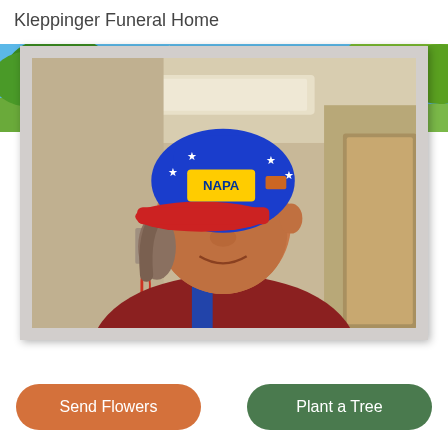Kleppinger Funeral Home
[Figure (photo): Landscape banner image showing green trees and blue sky with sunlight]
[Figure (photo): Portrait photo of an elderly man wearing a blue NAPA racing cap with stars and a red brim, looking slightly to the side with a slight smile. He is wearing blue overalls and a dark red shirt. Indoor background visible.]
Send Flowers
Plant a Tree